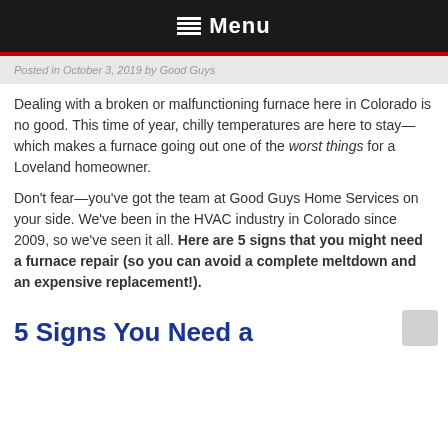Menu
Posted in October 3, 2019 by Good Guys
Dealing with a broken or malfunctioning furnace here in Colorado is no good. This time of year, chilly temperatures are here to stay—which makes a furnace going out one of the worst things for a Loveland homeowner.
Don't fear—you've got the team at Good Guys Home Services on your side. We've been in the HVAC industry in Colorado since 2009, so we've seen it all. Here are 5 signs that you might need a furnace repair (so you can avoid a complete meltdown and an expensive replacement!).
5 Signs You Need a